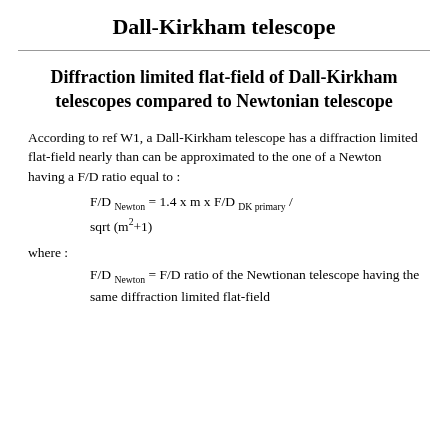Dall-Kirkham telescope
Diffraction limited flat-field of Dall-Kirkham telescopes compared to Newtonian telescope
According to ref W1, a Dall-Kirkham telescope has a diffraction limited flat-field nearly than can be approximated to the one of a Newton having a F/D ratio equal to :
where :
F/D Newton = F/D ratio of the Newtionan telescope having the same diffraction limited flat-field